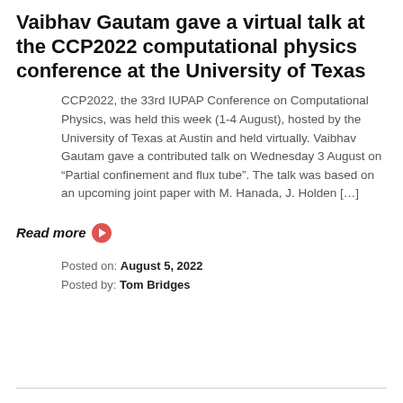Vaibhav Gautam gave a virtual talk at the CCP2022 computational physics conference at the University of Texas
CCP2022, the 33rd IUPAP Conference on Computational Physics, was held this week (1-4 August), hosted by the University of Texas at Austin and held virtually. Vaibhav Gautam gave a contributed talk on Wednesday 3 August on “Partial confinement and flux tube”. The talk was based on an upcoming joint paper with M. Hanada, J. Holden […]
Read more
Posted on: August 5, 2022
Posted by: Tom Bridges